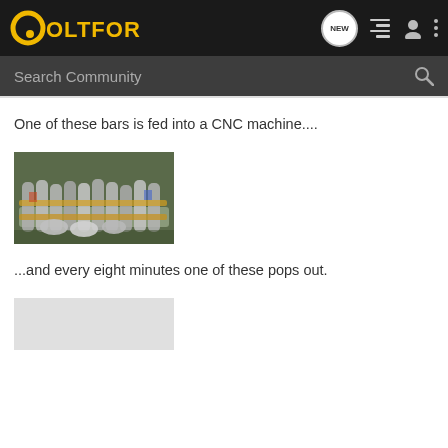ColtForum
One of these bars is fed into a CNC machine....
[Figure (photo): Bundles of metal bars/rods stacked together, photographed in what appears to be a warehouse or factory setting]
...and every eight minutes one of these pops out.
[Figure (photo): Partially visible image at bottom of page, appears to be a light gray object]